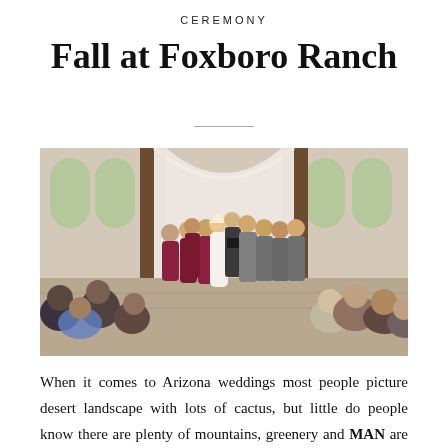CEREMONY
Fall at Foxboro Ranch
[Figure (photo): Wedding ceremony at Foxboro Ranch. Bridesmaids in burgundy dresses stand to the left, groomsmen in gray suits to the right, bride and groom at center with an officiant, under a white draped arch inside a rustic venue with arched windows. Guests are seated and standing, watching from the foreground.]
When it comes to Arizona weddings most people picture desert landscape with lots of cactus, but little do people know there are plenty of mountains, greenery and MAN are there